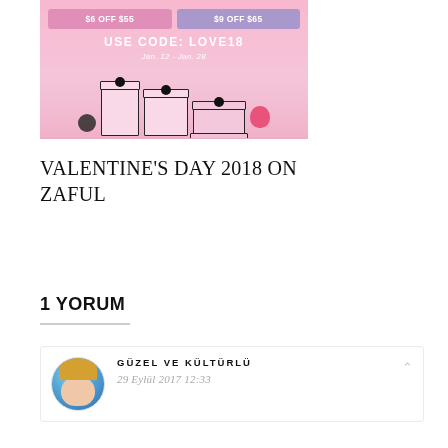[Figure (photo): Zaful Valentine's Day 2018 promotional banner. Pink background with gift boxes. Shows '$6 OFF $55' badge in pink and '$9 OFF $65' badge in purple. Text reads 'USE CODE: LOVE18' and 'Jan. 12 - Jan. 28'. Pink gift boxes with black ribbons on a pink surface.]
VALENTINE'S DAY 2018 ON ZAFUL
1 YORUM
GÜZEL VE KÜLTÜRLÜ
29 Eylül 2017 12:33